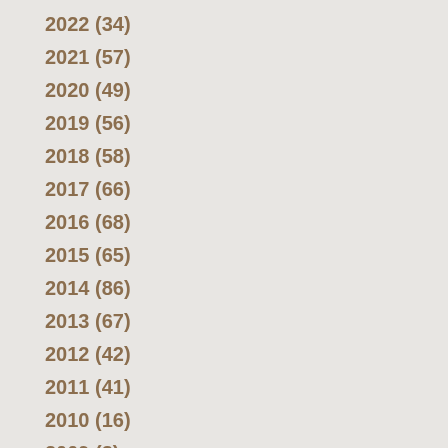2022 (34)
2021 (57)
2020 (49)
2019 (56)
2018 (58)
2017 (66)
2016 (68)
2015 (65)
2014 (86)
2013 (67)
2012 (42)
2011 (41)
2010 (16)
2009 (3)
Categories